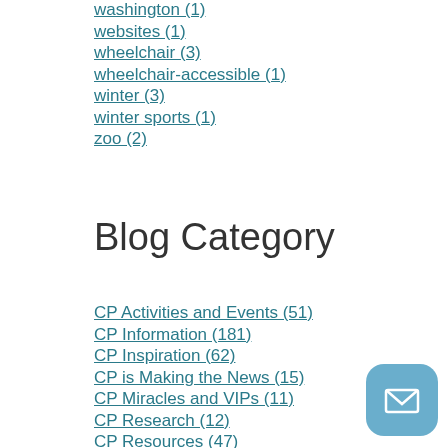washington (1)
websites (1)
wheelchair (3)
wheelchair-accessible (1)
winter (3)
winter sports (1)
zoo (2)
Blog Category
CP Activities and Events (51)
CP Information (181)
CP Inspiration (62)
CP is Making the News (15)
CP Miracles and VIPs (11)
CP Research (12)
CP Resources (47)
CP Support (34)
CP Technology (10)